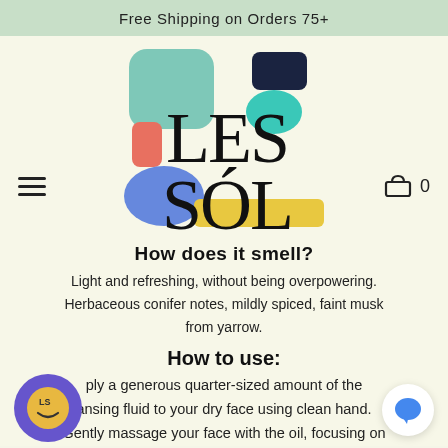Free Shipping on Orders 75+
[Figure (logo): Les Sól brand logo with colorful geometric shapes (teal rectangle, dark navy rectangle, coral/salmon rectangle, teal blob, blue blob, yellow rectangle) behind large bold text reading LES SÓL]
How does it smell?
Light and refreshing, without being overpowering. Herbaceous conifer notes, mildly spiced, faint musk from yarrow.
How to use:
ply a generous quarter-sized amount of the ansing fluid to your dry face using clean hand. Gently massage your face with the oil, focusing on